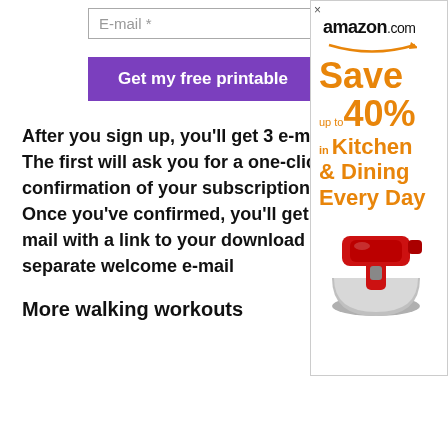E-mail *
Get my free printable
After you sign up, you'll get 3 e-ma... The first will ask you for a one-clic... confirmation of your subscription. Once you've confirmed, you'll get a... mail with a link to your download a... separate welcome e-mail
More walking workouts
[Figure (infographic): Amazon.com advertisement: Save up to 40% in Kitchen & Dining Every Day, with image of a red KitchenAid stand mixer]